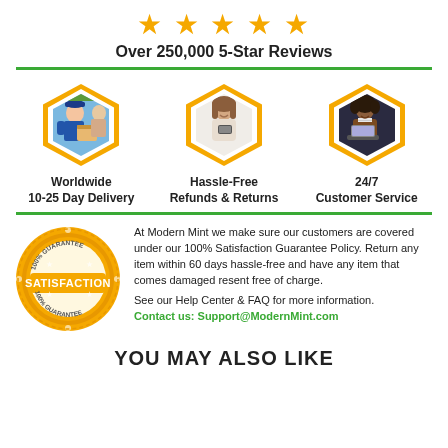[Figure (infographic): Five golden stars rating icons]
Over 250,000 5-Star Reviews
[Figure (infographic): Three hexagonal photo badges: delivery man handing package (Worldwide 10-25 Day Delivery), woman with credit card (Hassle-Free Refunds & Returns), woman at laptop (24/7 Customer Service)]
Worldwide 10-25 Day Delivery
Hassle-Free Refunds & Returns
24/7 Customer Service
[Figure (logo): Gold satisfaction guarantee badge with SATISFACTION text]
At Modern Mint we make sure our customers are covered under our 100% Satisfaction Guarantee Policy. Return any item within 60 days hassle-free and have any item that comes damaged resent free of charge.
See our Help Center & FAQ for more information.
Contact us: Support@ModernMint.com
YOU MAY ALSO LIKE